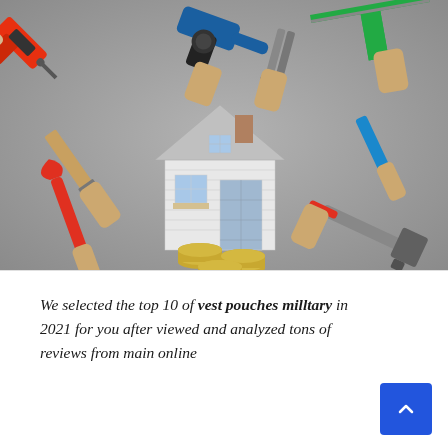[Figure (photo): Photograph of multiple gloved hands holding various tools (electric drill, angle grinder, paintbrush, wrench, hacksaw, pliers, hammer) pointing toward a white miniature house model sitting on stacked coins, set against a grey background.]
We selected the top 10 of vest pouches milltary in 2021 for you after viewed and analyzed tons of reviews from main online